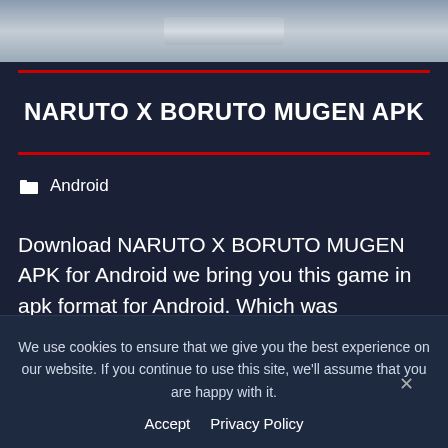[Figure (screenshot): Partial screenshot of a game image with gray gradient background showing a blurry object]
NARUTO X BORUTO MUGEN APK
Android
Download NARUTO X BORUTO MUGEN APK for Android we bring you this game in apk format for Android. Which was
We use cookies to ensure that we give you the best experience on our website. If you continue to use this site, we'll assume that you are happy with it.
Accept   Privacy Policy